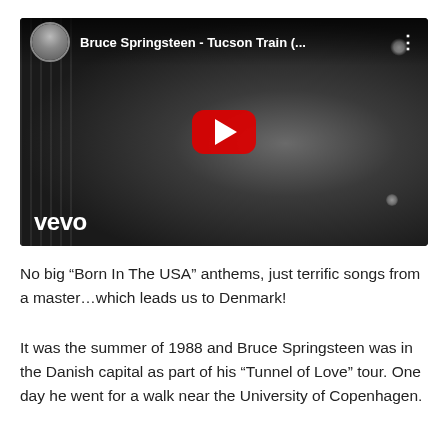[Figure (screenshot): YouTube video thumbnail for Bruce Springsteen - Tucson Train, showing a black and white image of Springsteen at a microphone with a red YouTube play button in the center and the Vevo logo in the bottom left. The video header shows a circular avatar, the title 'Bruce Springsteen - Tucson Train (...', and a three-dot menu icon.]
No big “Born In The USA” anthems, just terrific songs from a master…which leads us to Denmark!
It was the summer of 1988 and Bruce Springsteen was in the Danish capital as part of his “Tunnel of Love” tour. One day he went for a walk near the University of Copenhagen.